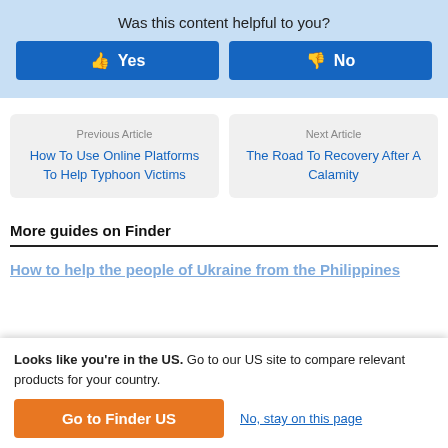Was this content helpful to you?
Yes
No
Previous Article
How To Use Online Platforms To Help Typhoon Victims
Next Article
The Road To Recovery After A Calamity
More guides on Finder
How to help the people of Ukraine from the Philippines
Looks like you're in the US. Go to our US site to compare relevant products for your country.
Go to Finder US
No, stay on this page